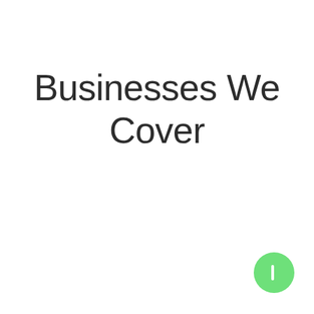Businesses We Cover
[Figure (other): Green circular navigation button with a white vertical bar/pause icon in the bottom-right corner]